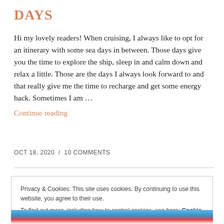DAYS
Hi my lovely readers! When cruising, I always like to opt for an itinerary with some sea days in between. Those days give you the time to explore the ship, sleep in and calm down and relax a little. Those are the days I always look forward to and that really give me the time to recharge and get some energy back. Sometimes I am …
Continue reading
OCT 18, 2020 / 10 COMMENTS
Privacy & Cookies: This site uses cookies. By continuing to use this website, you agree to their use.
To find out more, including how to control cookies, see here: Cookie Policy
Close and accept
[Figure (photo): Partial view of a cruise ship at sea, colorful photo at the bottom of the page]